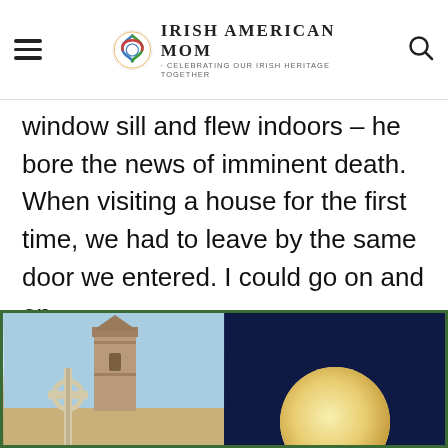Irish American Mom - Celebrating Our Irish Heritage Together
window sill and flew indoors – he bore the news of imminent death. When visiting a house for the first time, we had to leave by the same door we entered. I could go on and on.
[Figure (photo): Two-panel collage image: left shows an Irish stone tower/church with a Celtic cross in the foreground under a blue sky; right shows a full moon against a dark navy sky.]